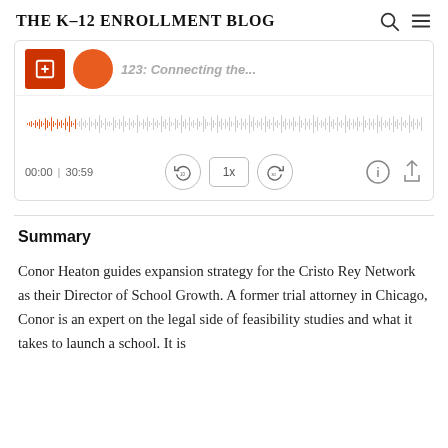THE K-12 ENROLLMENT BLOG
[Figure (screenshot): Podcast audio player widget showing album art (red square with microphone icon and orange circle), partially visible podcast title text, waveform visualization in orange/gray, time display showing 00:00 | 30:59, and playback controls including rewind 10, 1x speed, forward 30, info, and share buttons.]
Summary
Conor Heaton guides expansion strategy for the Cristo Rey Network as their Director of School Growth. A former trial attorney in Chicago, Conor is an expert on the legal side of feasibility studies and what it takes to launch a school. It is